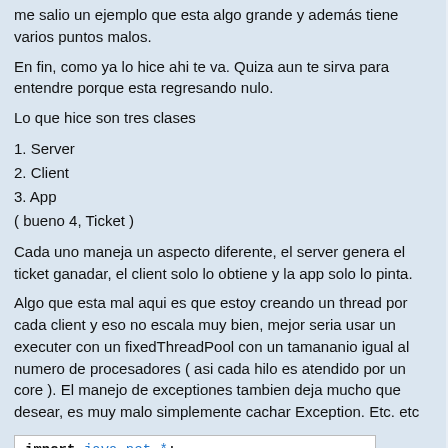me salio un ejemplo que esta algo grande y además tiene varios puntos malos.
En fin, como ya lo hice ahi te va. Quiza aun te sirva para entendre porque esta regresando nulo.
Lo que hice son tres clases
1. Server
2. Client
3. App
( bueno 4, Ticket )
Cada uno maneja un aspecto diferente, el server genera el ticket ganadar, el client solo lo obtiene y la app solo lo pinta.
Algo que esta mal aqui es que estoy creando un thread por cada client y eso no escala muy bien, mejor seria usar un executer con un fixedThreadPool con un tamananio igual al numero de procesadores ( asi cada hilo es atendido por un core ). El manejo de exceptiones tambien deja mucho que desear, es muy malo simplemente cachar Exception. Etc. etc
[Figure (screenshot): Code snippet showing: import java.net.*;]